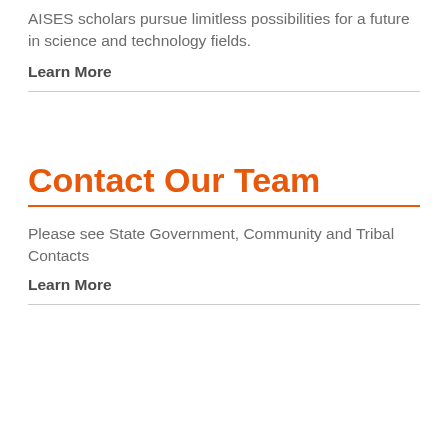AISES scholars pursue limitless possibilities for a future in science and technology fields.
Learn More
Contact Our Team
Please see State Government, Community and Tribal Contacts
Learn More